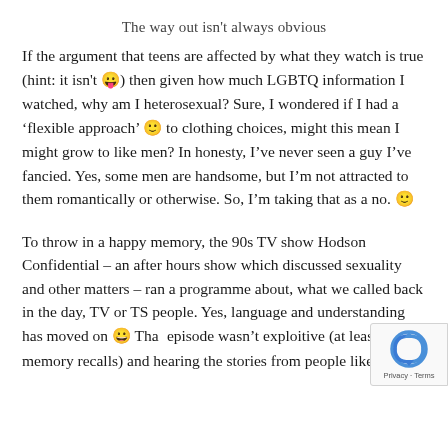The way out isn't always obvious
If the argument that teens are affected by what they watch is true (hint: it isn't 😛) then given how much LGBTQ information I watched, why am I heterosexual? Sure, I wondered if I had a 'flexible approach' 🙂 to clothing choices, might this mean I might grow to like men? In honesty, I've never seen a guy I've fancied. Yes, some men are handsome, but I'm not attracted to them romantically or otherwise. So, I'm taking that as a no. 🙂
To throw in a happy memory, the 90s TV show Hodson Confidential – an after hours show which discussed sexuality and other matters – ran a programme about, what we called back in the day, TV or TS people. Yes, language and understanding has moved on 😀 That episode wasn't exploitive (at least so my memory recalls) and hearing the stories from people like m... well, a felt less alone and less weird. It's fine, make your...